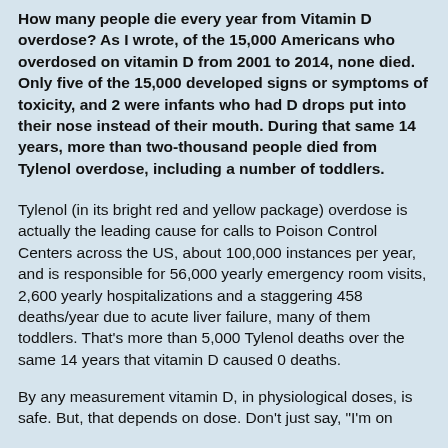How many people die every year from Vitamin D overdose? As I wrote, of the 15,000 Americans who overdosed on vitamin D from 2001 to 2014, none died. Only five of the 15,000 developed signs or symptoms of toxicity, and 2 were infants who had D drops put into their nose instead of their mouth. During that same 14 years, more than two-thousand people died from Tylenol overdose, including a number of toddlers.
Tylenol (in its bright red and yellow package) overdose is actually the leading cause for calls to Poison Control Centers across the US, about 100,000 instances per year, and is responsible for 56,000 yearly emergency room visits, 2,600 yearly hospitalizations and a staggering 458 deaths/year due to acute liver failure, many of them toddlers. That's more than 5,000 Tylenol deaths over the same 14 years that vitamin D caused 0 deaths.
By any measurement vitamin D, in physiological doses, is safe. But, that depends on dose. Don't just say, "I'm on